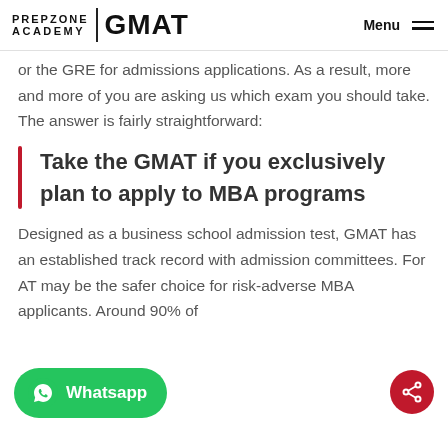PREPZONE ACADEMY | GMAT — Menu
or the GRE for admissions applications. As a result, more and more of you are asking us which exam you should take. The answer is fairly straightforward:
Take the GMAT if you exclusively plan to apply to MBA programs
Designed as a business school admission test, GMAT has an established track record with admission committees. For AT may be the safer choice for risk-adverse MBA applicants. Around 90% of